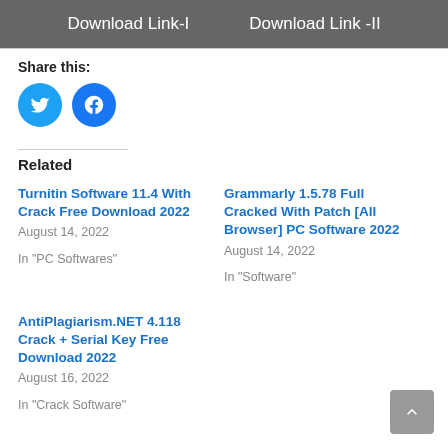Download Link-I    Download Link -II
Share this:
[Figure (illustration): Twitter and Facebook social sharing icon buttons (blue circles)]
Related
Turnitin Software 11.4 With Crack Free Download 2022
August 14, 2022
In "PC Softwares"
Grammarly 1.5.78 Full Cracked With Patch [All Browser] PC Software 2022
August 14, 2022
In "Software"
AntiPlagiarism.NET 4.118 Crack + Serial Key Free Download 2022
August 16, 2022
In "Crack Software"